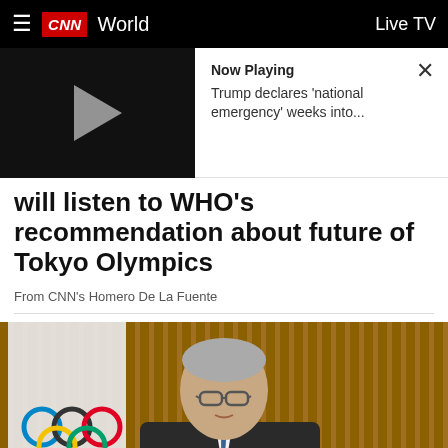CNN World   Live TV
[Figure (screenshot): Video player thumbnail showing play button, with 'Now Playing: Trump declares national emergency weeks into...' and a close X button]
will listen to WHO's recommendation about future of Tokyo Olympics
From CNN's Homero De La Fuente
[Figure (photo): Man in dark suit with blue tie standing in front of Olympic rings flag and vertical wooden slat background, likely IOC official]